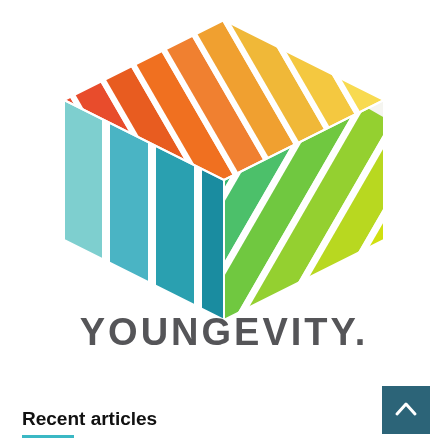[Figure (logo): Youngevity logo — a 3D cube made of colorful diagonal stripes (red-orange on top, teal on left, green and yellow-green on right) with the word YOUNGEVITY. in bold gray sans-serif letters below]
Recent articles